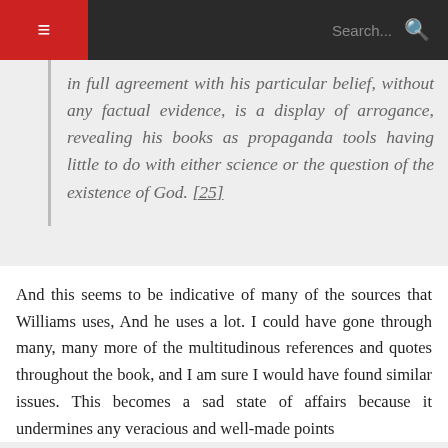☰  Search...  🔍
in full agreement with his particular belief, without any factual evidence, is a display of arrogance, revealing his books as propaganda tools having little to do with either science or the question of the existence of God. [25]
And this seems to be indicative of many of the sources that Williams uses, And he uses a lot. I could have gone through many, many more of the multitudinous references and quotes throughout the book, and I am sure I would have found similar issues. This becomes a sad state of affairs because it undermines any veracious and well-made points